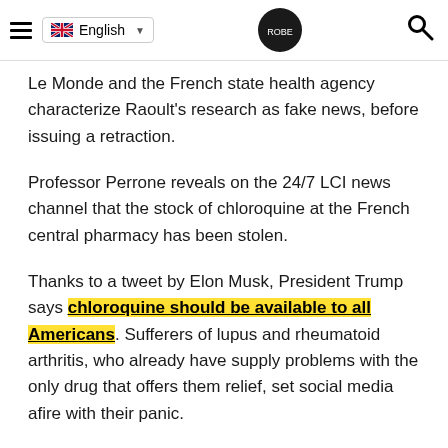English [language selector] | Logo | Search
Le Monde and the French state health agency characterize Raoult's research as fake news, before issuing a retraction.
Professor Perrone reveals on the 24/7 LCI news channel that the stock of chloroquine at the French central pharmacy has been stolen.
Thanks to a tweet by Elon Musk, President Trump says chloroquine should be available to all Americans. Sufferers of lupus and rheumatoid arthritis, who already have supply problems with the only drug that offers them relief, set social media afire with their panic.
US doctors and other medical professionals take